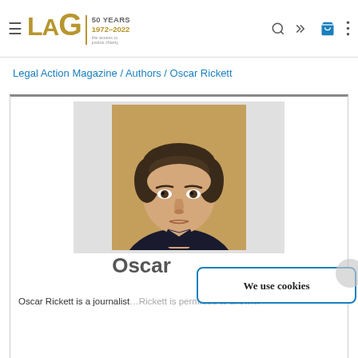LAG 50 YEARS 1972–2022 – Legal Action Group
Legal Action Magazine / Authors / Oscar Rickett
[Figure (photo): Headshot of Oscar Rickett, a young man with dark hair against a golden/tan background]
Oscar Rickett
Oscar Rickett is a journalist...
We use cookies